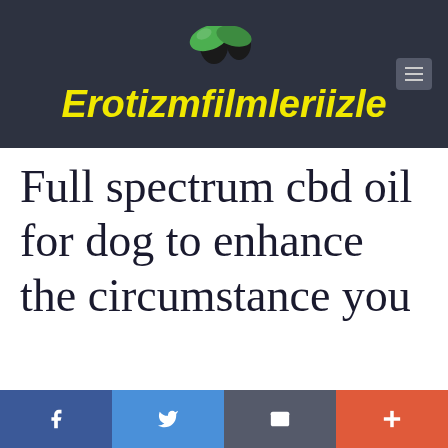[Figure (logo): Erotizmfilmleriizle website logo with yellow italic text and green/dark graphic icon on dark background]
Full spectrum cbd oil for dog to enhance the circumstance you
Hemp oil is crushed from hemp seed
[Figure (infographic): Social sharing bar at bottom with Facebook, Twitter, Email, and More (+) buttons]